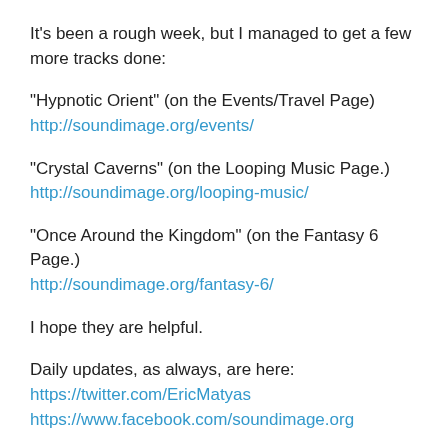It's been a rough week, but I managed to get a few more tracks done:
“Hypnotic Orient” (on the Events/Travel Page)
http://soundimage.org/events/
“Crystal Caverns” (on the Looping Music Page.)
http://soundimage.org/looping-music/
“Once Around the Kingdom” (on the Fantasy 6 Page.)
http://soundimage.org/fantasy-6/
I hope they are helpful.
Daily updates, as always, are here:
https://twitter.com/EricMatyas
https://www.facebook.com/soundimage.org